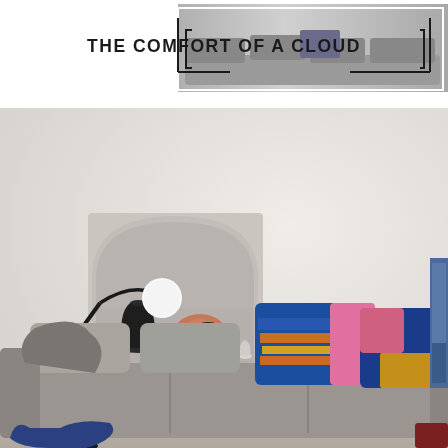[Figure (illustration): Banner image with bold text 'THE COMFORT OF A CLOUD' overlaid on a grayscale photo of a sofa/furniture, with geometric frame lines]
[Figure (photo): Interior living room photo showing a light grey sofa with colorful pillows (blue/pink striped and blue/pink colorblock), a black floor lamp with white globe, an arched wall niche containing decorative objects (black vase, terracotta plate, small white vases), and a painting partially visible on the right]